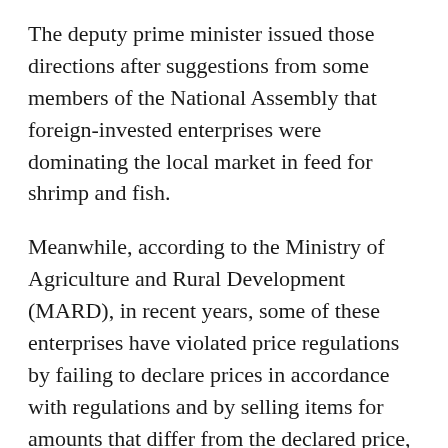The deputy prime minister issued those directions after suggestions from some members of the National Assembly that foreign-invested enterprises were dominating the local market in feed for shrimp and fish.
Meanwhile, according to the Ministry of Agriculture and Rural Development (MARD), in recent years, some of these enterprises have violated price regulations by failing to declare prices in accordance with regulations and by selling items for amounts that differ from the declared price, reported Government's website chinhphu.vn. The enterprises that hold large market shares are not under the list of enterprises that must declare price as per existing regulations.
However, the MARD and their relevant agencies have not found any deal between foreign-invested companies and local dominators of feed for shrimp and...